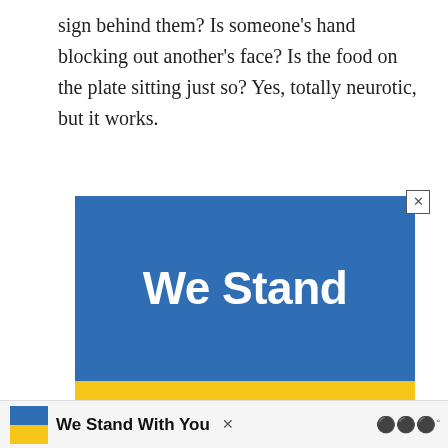sign behind them? Is someone's hand blocking out another's face? Is the food on the plate sitting just so? Yes, totally neurotic, but it works.
[Figure (screenshot): Advertisement banner with Ukrainian flag colors (blue top half, yellow bottom half) showing bold white text 'We Stand' on blue section and bold black text 'With You' on yellow section. Includes a close (X) button in top right, a teal heart/like button with count 24, a share button on the right sidebar, and a 'What's Next' widget showing '17 Ideas for an Amazing...' Below is a smaller bottom banner version of the same ad with a flag icon, 'We Stand With You' text, and a media logo.]